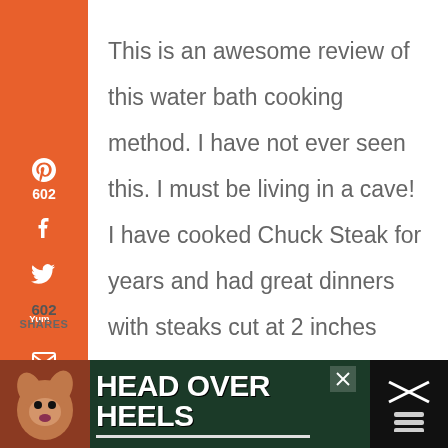[Figure (screenshot): Social sharing sidebar on the left with orange background showing Pinterest (602), Facebook, Twitter, Yummly, Email, Print icons, and 602 SHARES count at bottom]
This is an awesome review of this water bath cooking method. I have not ever seen this. I must be living in a cave! I have cooked Chuck Steak for years and had great dinners with steaks cut at 2 inches thick. As for the chuck
[Figure (screenshot): Share button (circular white button with share icon) on the right side]
[Figure (illustration): Bottom advertisement bar with dark green background showing a dog image, HEAD OVER HEELS text in white bold font, close X button, and right side black panel with X marks]